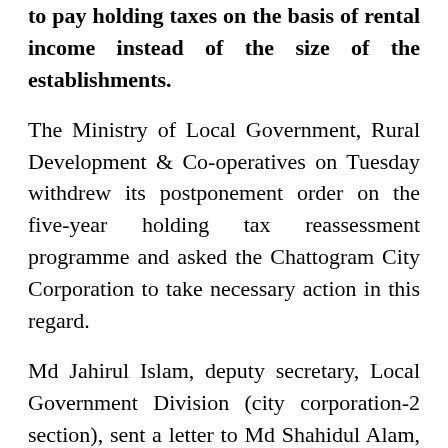to pay holding taxes on the basis of rental income instead of the size of the establishments.
The Ministry of Local Government, Rural Development & Co-operatives on Tuesday withdrew its postponement order on the five-year holding tax reassessment programme and asked the Chattogram City Corporation to take necessary action in this regard.
Md Jahirul Islam, deputy secretary, Local Government Division (city corporation-2 section), sent a letter to Md Shahidul Alam, chief executive officer of CCC, in this regard, asking the city corporation to take ncecessay measures in this direction.